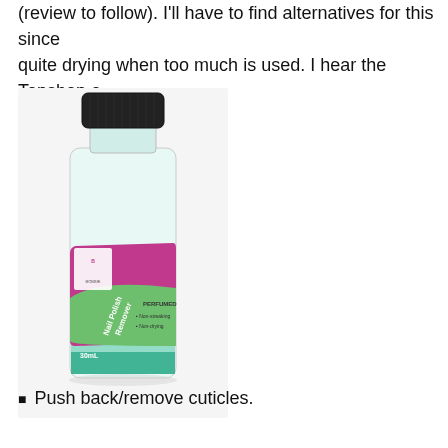(review to follow). I'll have to find alternatives for this since quite drying when too much is used. I hear the Topshop o are good.
[Figure (photo): A small clear plastic bottle of Bobbie Nail Polish Remover with a black screw cap, green liquid inside, and a pink and green label reading 'Nail Polish Remover + Formula 30 Vitamins, PERFUMED, Non-streaking, Non-drying, 30mL']
Push back/remove cuticles.